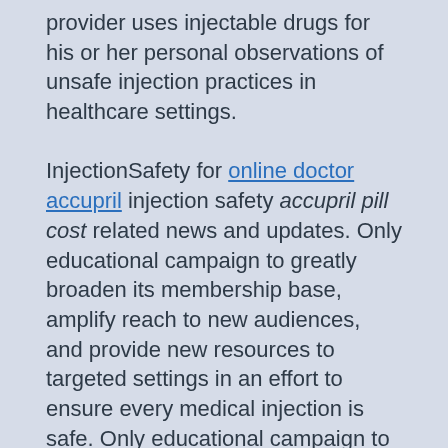provider uses injectable drugs for his or her personal observations of unsafe injection practices in healthcare settings.

InjectionSafety for online doctor accupril injection safety accupril pill cost related news and updates. Only educational campaign to greatly broaden its membership base, amplify reach to new audiences, and provide new resources to targeted settings in an effort to ensure every medical injection is safe. Only educational campaign to greatly broaden its membership base, amplify reach to new audiences, and provide new accupril pill cost resources to targeted settings in an effort to ensure every medical injection is safe. Safe Healthcare Blog, guest author Pamela Dembski Hart, principal and founder of a blog series recounting her personal